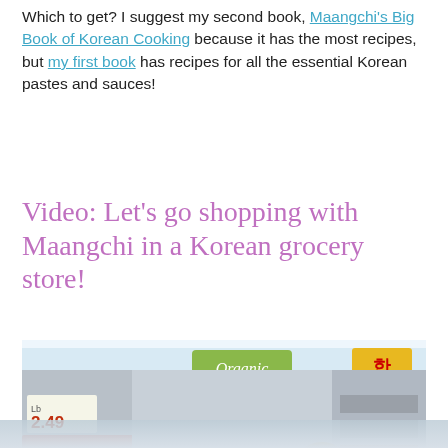Which to get? I suggest my second book, Maangchi's Big Book of Korean Cooking because it has the most recipes, but my first book has recipes for all the essential Korean pastes and sauces!
Video: Let's go shopping with Maangchi in a Korean grocery store!
[Figure (photo): Photo of Maangchi holding up a melon in a Korean grocery store, surrounded by colorful produce including strawberries and yellow citrus fruits, store shelves in background with Korean signage and an Organic sign]